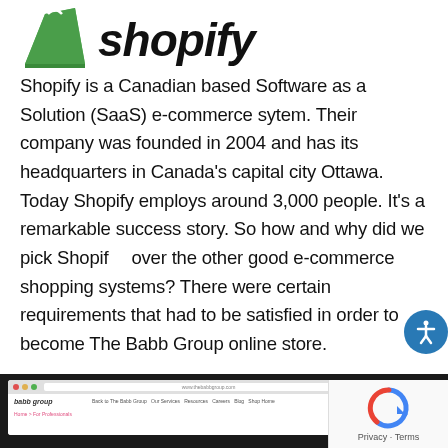[Figure (logo): Shopify logo with green shopping bag icon and 'shopify' wordmark in bold italic black text]
Shopify is a Canadian based Software as a Solution (SaaS) e-commerce sytem. Their company was founded in 2004 and has its headquarters in Canada's capital city Ottawa. Today Shopify employs around 3,000 people. It's a remarkable success story. So how and why did we pick Shopify over the other good e-commerce shopping systems? There were certain requirements that had to be satisfied in order to become The Babb Group online store.
[Figure (screenshot): Screenshot of The Babb Group website showing browser chrome with navigation bar and website header]